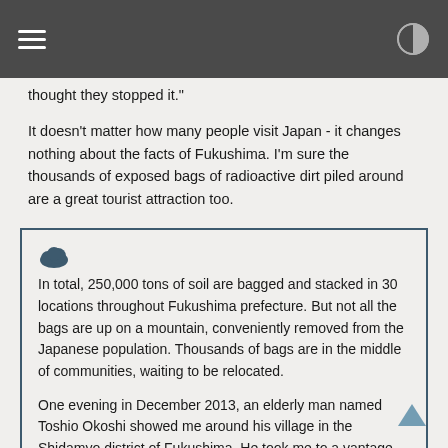[navigation bar with hamburger menu and contrast icon]
thought they stopped it."
It doesn't matter how many people visit Japan - it changes nothing about the facts of Fukushima. I'm sure the thousands of exposed bags of radioactive dirt piled around are a great tourist attraction too.
In total, 250,000 tons of soil are bagged and stacked in 30 locations throughout Fukushima prefecture. But not all the bags are up on a mountain, conveniently removed from the Japanese population. Thousands of bags are in the middle of communities, waiting to be relocated.

One evening in December 2013, an elderly man named Toshio Okoshi showed me around his village in the Shidamyo district of Fukushima. He took me to a vantage point where I could see piles of thousands of blue bags, from village to village, rice field to rice field, home to home. Upon taking in the sight, I yelped so loud that Okoshi had to adjust his hearing aid. He explained that the region's village